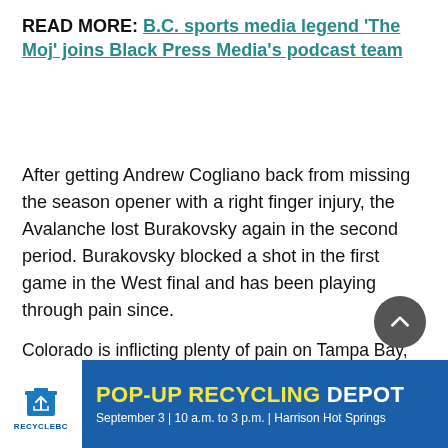READ MORE: B.C. sports media legend 'The Moj' joins Black Press Media's podcast team
After getting Andrew Cogliano back from missing the season opener with a right finger injury, the Avalanche lost Burakovsky again in the second period. Burakovsky blocked a shot in the first game in the West final and has been playing through pain since.
Colorado is inflicting plenty of pain on Tampa Bay, which resorted to some rough stuff after falling behind. Of course, even MacKinnon was throwing hits in the third period despite the game being out of hand.
[Figure (other): Advertisement banner: RecycleBC logo on the left, blue background with yellow and white text 'POP-UP RECYCLING DEPOT September 3 | 10 a.m. to 3 p.m. | Harrison Hot Springs']